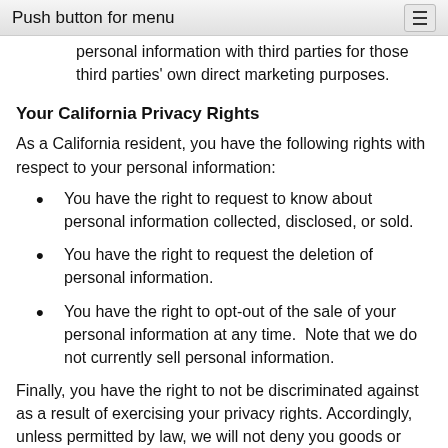Push button for menu
personal information with third parties for those third parties' own direct marketing purposes.
Your California Privacy Rights
As a California resident, you have the following rights with respect to your personal information:
You have the right to request to know about personal information collected, disclosed, or sold.
You have the right to request the deletion of personal information.
You have the right to opt-out of the sale of your personal information at any time.  Note that we do not currently sell personal information.
Finally, you have the right to not be discriminated against as a result of exercising your privacy rights. Accordingly, unless permitted by law, we will not deny you goods or services, charge you different prices or rates for goods or services, provide you a